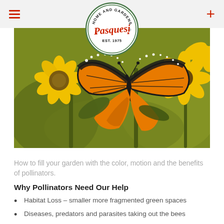Pasquesi Home and Gardens EST. 1975
[Figure (photo): A monarch butterfly with orange and black wings resting on bright yellow sunflowers against a green bokeh background. The Pasquesi Home and Gardens logo (EST. 1975) is overlaid at the top center.]
How to fill your garden with the color, motion and the benefits of pollinators.
Why Pollinators Need Our Help
Habitat Loss – smaller more fragmented green spaces
Diseases, predators and parasites taking out the bees
Pesticides –